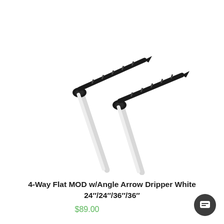[Figure (photo): Two black and white 4-Way Flat MOD w/Angle Arrow Drippers with white tubes extending downward and black angled arrow dripper heads at the top, photographed against a white background.]
4-Way Flat MOD w/Angle Arrow Dripper White 24"/24"/36"/36"
$89.00